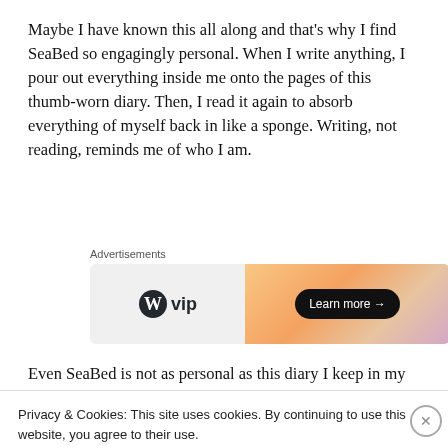Maybe I have known this all along and that's why I find SeaBed so engagingly personal. When I write anything, I pour out everything inside me onto the pages of this thumb-worn diary. Then, I read it again to absorb everything of myself back in like a sponge. Writing, not reading, reminds me of who I am.
[Figure (other): WordPress VIP advertisement banner with logo on left and 'Learn more →' button on peach/gradient background on right. Label 'Advertisements' appears above.]
Even SeaBed is not as personal as this diary I keep in my backpack. But I wonder what the reactions people will have if
Privacy & Cookies: This site uses cookies. By continuing to use this website, you agree to their use.
To find out more, including how to control cookies, see here: Cookie Policy
Close and accept